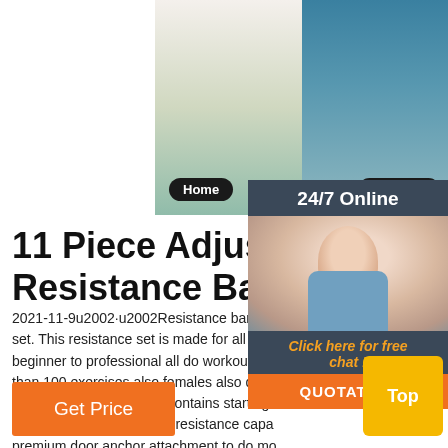[Figure (photo): Two-panel product photo: left panel shows woman doing squats at home with resistance bands labeled 'Home', right panel shows woman exercising outdoors labeled 'Outdoors']
[Figure (photo): Chat panel overlay with 24/7 Online customer service agent photo, 'Click here for free chat!' text and orange QUOTATION button]
11 Piece Adjustable Resistance Band Set Inc
2021-11-9u2002·u2002Resistance band 1 set. This resistance set is made for all to s beginner to professional all do workout wit than 100 exercises also females also do a stuff resistance set band contains starting resistance tube to 100 lbs resistance capa premium door anchor attachment to do mo CrossFit stuff at home. Reviews.
[Figure (photo): Get Price orange button and Top yellow button]
Get Price
Top